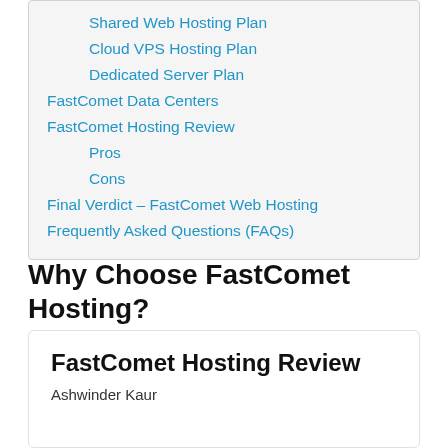Shared Web Hosting Plan
Cloud VPS Hosting Plan
Dedicated Server Plan
FastComet Data Centers
FastComet Hosting Review
Pros
Cons
Final Verdict – FastComet Web Hosting
Frequently Asked Questions (FAQs)
Why Choose FastComet Hosting?
FastComet Hosting Review
Ashwinder Kaur